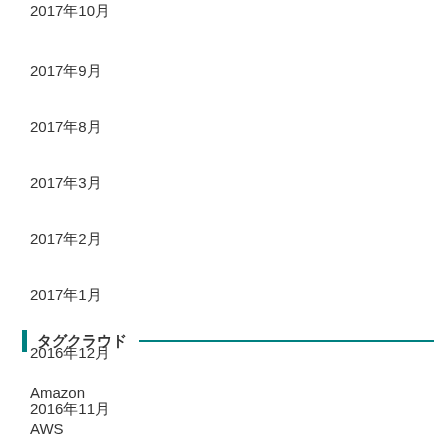2017年10月
2017年9月
2017年8月
2017年3月
2017年2月
2017年1月
2016年12月
2016年11月
タグクラウド
Amazon
AWS